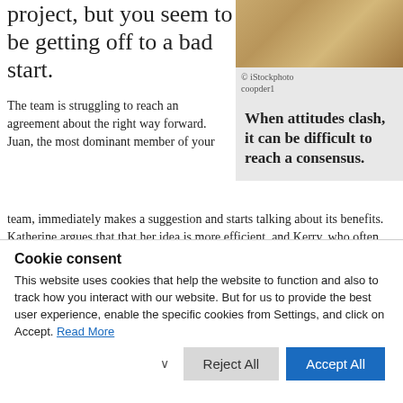project, but you seem to be getting off to a bad start.
[Figure (photo): Photo with copyright notice: © iStockphoto coopder1]
© iStockphoto coopder1
When attitudes clash, it can be difficult to reach a consensus.
The team is struggling to reach an agreement about the right way forward. Juan, the most dominant member of your team, immediately makes a suggestion and starts talking about its benefits. Katherine argues that that her idea is more efficient, and Kerry, who often has brilliant ideas, is too overwhelmed by Juan and Katherine to speak up.
Cookie consent
This website uses cookies that help the website to function and also to track how you interact with our website. But for us to provide the best user experience, enable the specific cookies from Settings, and click on Accept. Read More